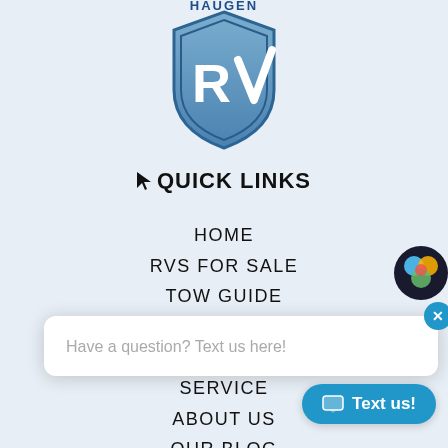[Figure (logo): Haugen RV shield logo with blue shield and white RV initials]
QUICK LINKS
HOME
RVS FOR SALE
TOW GUIDE
TRADE IN
SERVICE
ABOUT US
OUR BLOG
Have a question? Text us here!